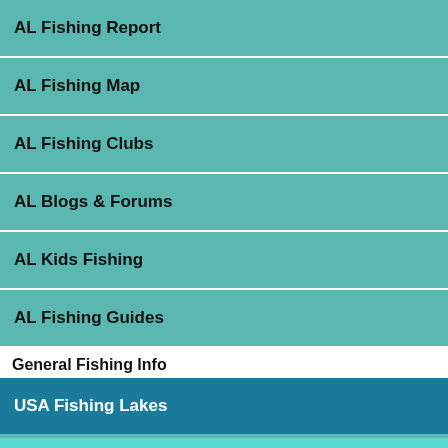AL Fishing Report
AL Fishing Map
AL Fishing Clubs
AL Blogs & Forums
AL Kids Fishing
AL Fishing Guides
General Fishing Info
USA Fishing Lakes